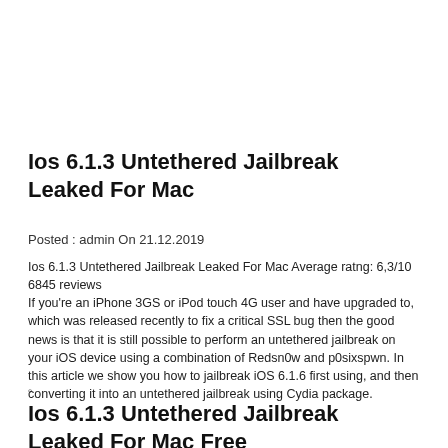Ios 6.1.3 Untethered Jailbreak Leaked For Mac
Posted : admin On 21.12.2019
Ios 6.1.3 Untethered Jailbreak Leaked For Mac Average ratng: 6,3/10 6845 reviews
If you're an iPhone 3GS or iPod touch 4G user and have upgraded to, which was released recently to fix a critical SSL bug then the good news is that it is still possible to perform an untethered jailbreak on your iOS device using a combination of Redsn0w and p0sixspwn. In this article we show you how to jailbreak iOS 6.1.6 first using, and then converting it into an untethered jailbreak using Cydia package.
◦
Ios 6.1.3 Untethered Jailbreak Leaked For Mac Free